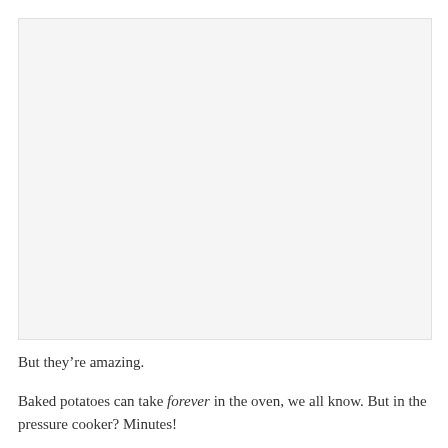[Figure (photo): Large light gray rectangular image placeholder area]
But they're amazing.
Baked potatoes can take forever in the oven, we all know. But in the pressure cooker? Minutes!